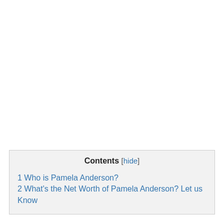Contents [hide]
1 Who is Pamela Anderson?
2 What's the Net Worth of Pamela Anderson? Let us Know